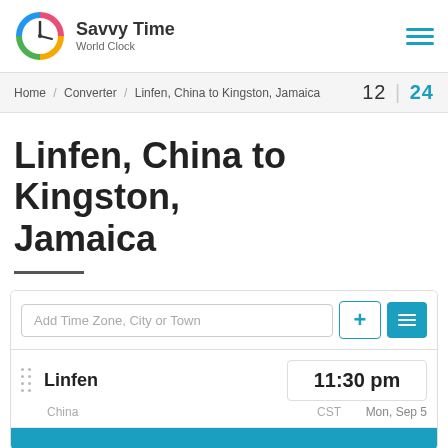Savvy Time World Clock
Home / Converter / Linfen, China to Kingston, Jamaica   12 | 24
Linfen, China to Kingston, Jamaica
Add Time Zone, City or Town
Linfen  11:30 pm
China  CST  Mon, Sep 5